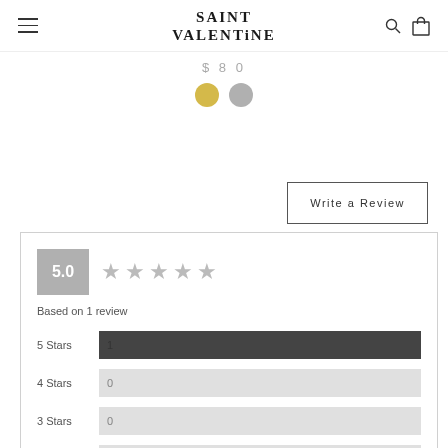SAINT VALENTiNE
$ 8 0
[Figure (illustration): Two color swatches: gold circle and silver/grey circle]
Write a Review
| Rating | Stars | Count |
| --- | --- | --- |
| 5.0 | ★★★★★ | Based on 1 review |
| 5 Stars |  | 1 |
| 4 Stars |  | 0 |
| 3 Stars |  | 0 |
| 2 Stars |  | 0 |